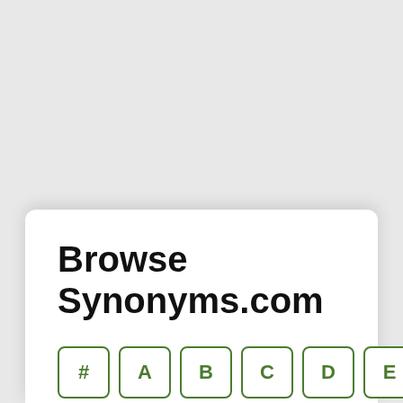Browse Synonyms.com
[Figure (other): Alphabet navigation buttons showing #, A, B, C, D, E in green bordered boxes]